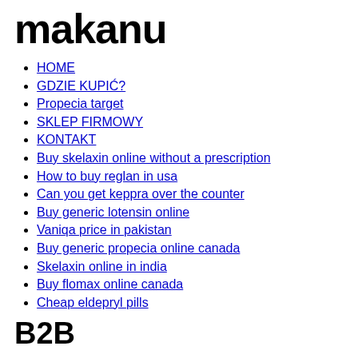makanu
HOME
GDZIE KUPIĆ?
Propecia target
SKLEP FIRMOWY
KONTAKT
Buy skelaxin online without a prescription
How to buy reglan in usa
Can you get keppra over the counter
Buy generic lotensin online
Vaniqa price in pakistan
Buy generic propecia online canada
Skelaxin online in india
Buy flomax online canada
Cheap eldepryl pills
B2B
Propecia 5mg vs 1mg